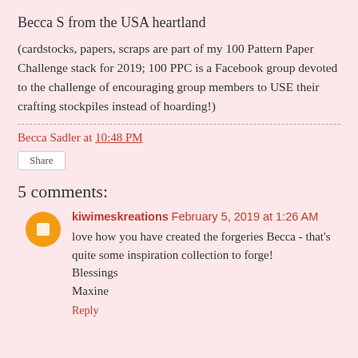Becca S from the USA heartland
(cardstocks, papers, scraps are part of my 100 Pattern Paper Challenge stack for 2019; 100 PPC is a Facebook group devoted to the challenge of encouraging group members to USE their crafting stockpiles instead of hoarding!)
Becca Sadler at 10:48 PM
Share
5 comments:
kiwimeskreations February 5, 2019 at 1:26 AM
love how you have created the forgeries Becca - that's quite some inspiration collection to forge!
Blessings
Maxine
Reply